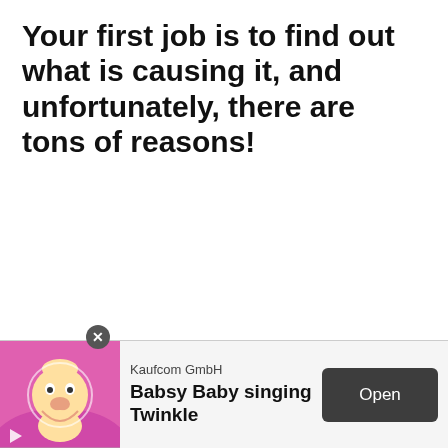Your first job is to find out what is causing it, and unfortunately, there are tons of reasons!
[Figure (other): Mobile advertisement banner for 'Babsy Baby singing Twinkle' by Kaufcom GmbH, showing a cartoon baby with pink background, a play icon, company name, app title, and an 'Open' button.]